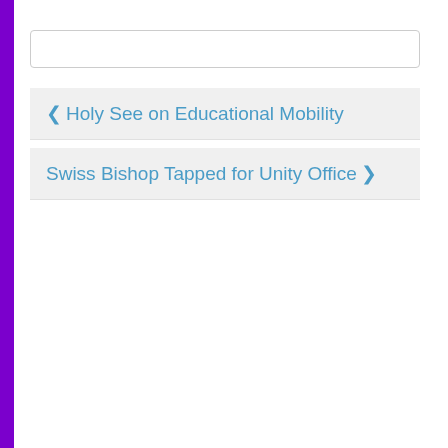Holy See on Educational Mobility
Swiss Bishop Tapped for Unity Office